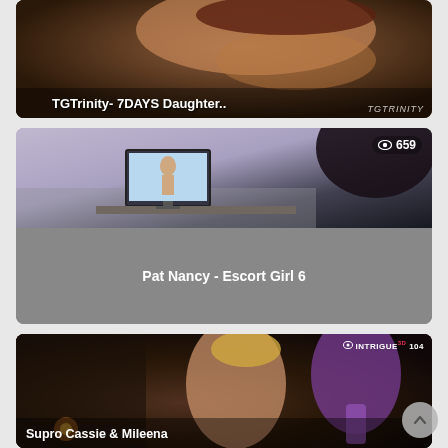[Figure (screenshot): Video thumbnail card 1: 7DAYS Daughter - dark bathroom scene with 7DAYS:D logo on left side, title overlay at bottom, TGTrinity brand watermark]
TGTrinity- 7DAYS Daughter..
[Figure (screenshot): Video thumbnail card 2: Pat Nancy - Escort Girl 6. Shows 3D rendered room scene with TV screen, view count 659 in top right corner, gray bottom panel with title]
Pat Nancy - Escort Girl 6
[Figure (screenshot): Video thumbnail card 3: Supro Cassie & Mileena - dark dungeon 3D scene with two characters, INTRIGUE3D logo with view count 104 in top right]
Supro Cassie & Mileena